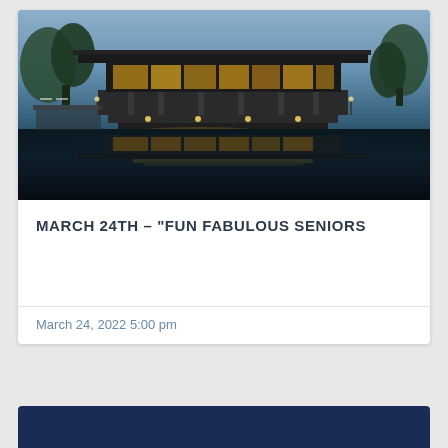[Figure (photo): Modern glass building with flat overhanging roof reflected in a still pond at dusk/twilight, surrounded by trees with blue-grey sky]
MARCH 24TH – "FUN FABULOUS SENIORS
March 24, 2022 5:00 pm